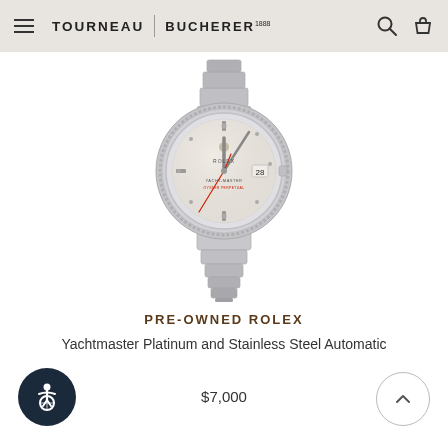TOURNEAU | BUCHERER
[Figure (photo): Rolex Yachtmaster watch with platinum bezel and stainless steel bracelet, showing silver dial with date display at 3 o'clock]
PRE-OWNED ROLEX
Yachtmaster Platinum and Stainless Steel Automatic
$7,000